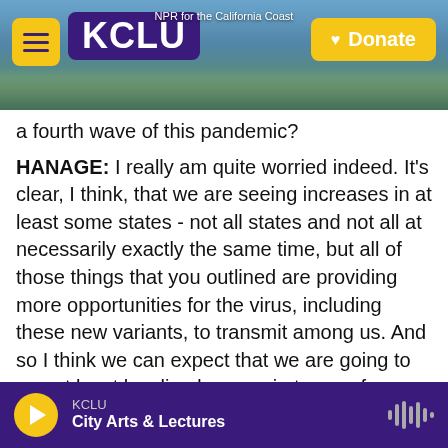[Figure (screenshot): KCLU NPR radio station website header with logo, hamburger menu, and Donate button over a coastal cityscape photo]
a fourth wave of this pandemic?
HANAGE: I really am quite worried indeed. It's clear, I think, that we are seeing increases in at least some states - not all states and not all at necessarily exactly the same time, but all of those things that you outlined are providing more opportunities for the virus, including these new variants, to transmit among us. And so I think we can expect that we are going to see at least localized surges in terms of infections.
SHAPIRO: Let's talk specifically about one of those
KCLU  City Arts & Lectures